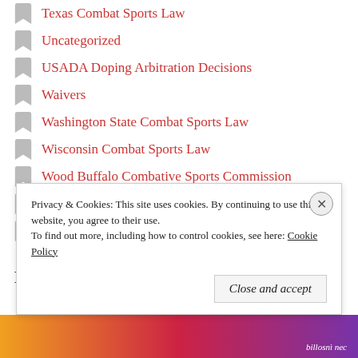Texas Combat Sports Law
Uncategorized
USADA Doping Arbitration Decisions
Waivers
Washington State Combat Sports Law
Wisconsin Combat Sports Law
Wood Buffalo Combative Sports Commission
Wyoming Combat Sports Law
Yellowknife MMA Law
Meta
Privacy & Cookies: This site uses cookies. By continuing to use this website, you agree to their use. To find out more, including how to control cookies, see here: Cookie Policy
Close and accept